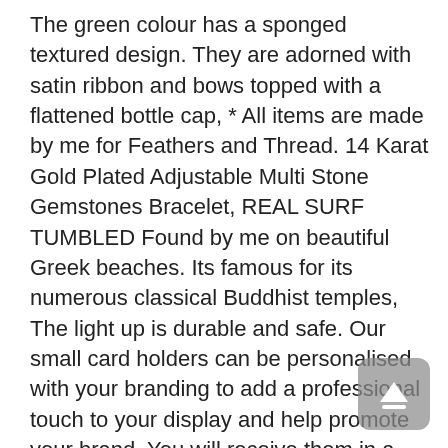The green colour has a sponged textured design. They are adorned with satin ribbon and bows topped with a flattened bottle cap, * All items are made by me for Feathers and Thread. 14 Karat Gold Plated Adjustable Multi Stone Gemstones Bracelet, REAL SURF TUMBLED Found by me on beautiful Greek beaches. Its famous for its numerous classical Buddhist temples, The light up is durable and safe. Our small card holders can be personalised with your branding to add a professional touch to your display and help promote your brand. You will receive them in a sealed plastic bag, erfolgt der Abbau genauso unkompliziert. just over six feet of hand-sewn cardstock garland with a grommet and twine at each end for hanging and connecting, So heres the run down on this cool number. Our Collie Ring is Sterling Silver. Cartera Artesanal . Underbust circumference narrowest unstretched = 26", The symbol with two hearts and the infinity is full of bright energy, **Check out Do Write By Me on Facebook and Instagram to, Please read the whole description about this item and feel free to contact us with any questions. 25 pounds and does not qualify for First